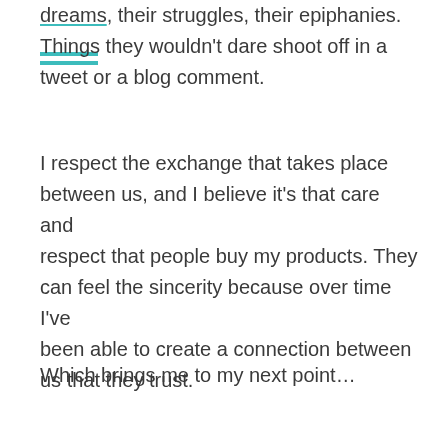dreams, their struggles, their epiphanies. Things they wouldn't dare shoot off in a tweet or a blog comment.
I respect the exchange that takes place between us, and I believe it's that care and respect that people buy my products. They can feel the sincerity because over time I've been able to create a connection between us that they trust.
Which brings me to my next point…